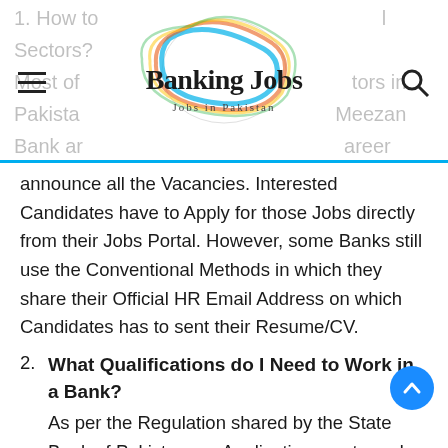Banking Jobs — Jobs in Pakistan
announce all the Vacancies. Interested Candidates have to Apply for those Jobs directly from their Jobs Portal. However, some Banks still use the Conventional Methods in which they share their Official HR Email Address on which Candidates has to sent their Resume/CV.
2. What Qualifications do I Need to Work in a Bank? As per the Regulation shared by the State Bank of Pakistan, an Application must need a Bachelor's Degree or 14 Years of Education in